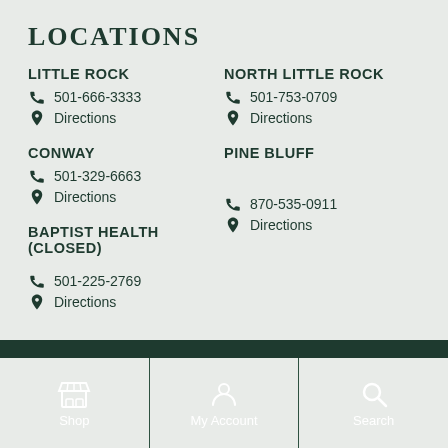LOCATIONS
LITTLE ROCK
501-666-3333
Directions
NORTH LITTLE ROCK
501-753-0709
Directions
CONWAY
501-329-6663
Directions
PINE BLUFF
870-535-0911
Directions
BAPTIST HEALTH (CLOSED)
501-225-2769
Directions
Shop | My Account | Search